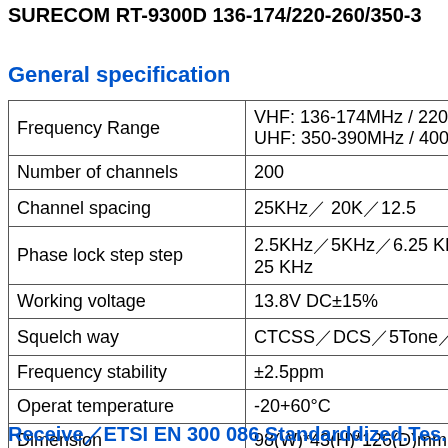SURECOM RT-9300D 136-174/220-260/350-3
General specification
|  |  |
| --- | --- |
| Frequency Range | VHF: 136-174MHz / 220...
UHF: 350-390MHz / 400... |
| Number of channels | 200 |
| Channel spacing | 25KHz／ 20K／12.5 |
| Phase lock step step | 2.5KHz／5KHz／6.25 KHz／1 25 KHz |
| Working voltage | 13.8V DC±15% |
| Squelch  way | CTCSS／DCS／5Tone／2Ton... |
| Frequency stability | ±2.5ppm |
| Operat temperature | -20+60°C |
| Dimension | 98(W)*43(H)*126(D)mm |
| Weight | 448g |
Receive／ETSI EN 300 086 Standarddized.Tes...